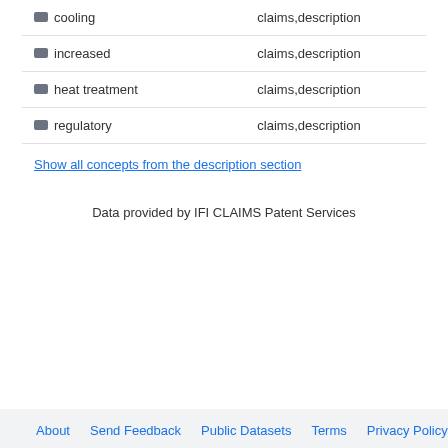| Concept | Source |
| --- | --- |
| cooling | claims,description |
| increased | claims,description |
| heat treatment | claims,description |
| regulatory | claims,description |
| Show all concepts from the description section |  |
Data provided by IFI CLAIMS Patent Services
About   Send Feedback   Public Datasets   Terms   Privacy Policy